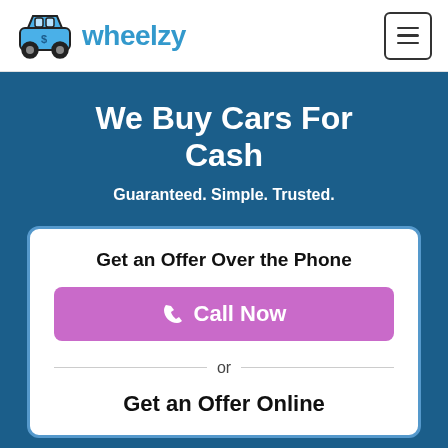[Figure (logo): Wheelzy logo: blue car with dollar sign icon and 'wheelzy' text in blue]
We Buy Cars For Cash
Guaranteed. Simple. Trusted.
Get an Offer Over the Phone
Call Now
or
Get an Offer Online